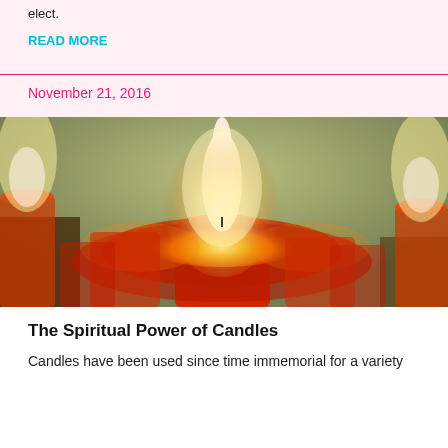elect.
READ MORE
November 21, 2016
[Figure (photo): Close-up photograph of lit red candles with warm glowing flames against a teal/green background]
The Spiritual Power of Candles
Candles have been used since time immemorial for a variety